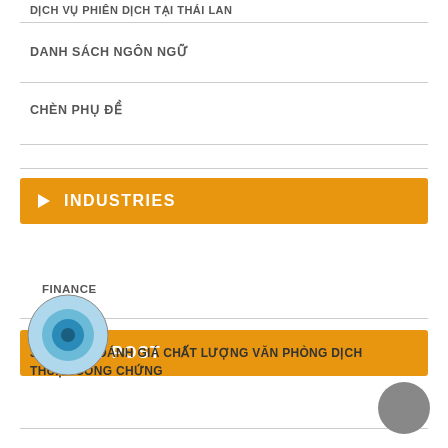DỊCH VỤ PHIÊN DỊCH TẠI THÁI LAN
DANH SÁCH NGÔN NGỮ
CHÈN PHỤ ĐỀ
INDUSTRIES
FINANCE
NEW POST
3 TIÊU CHÍ ĐÁNH GIÁ CHẤT LƯỢNG VĂN PHÒNG DỊCH THUẬT CÔNG CHỨNG